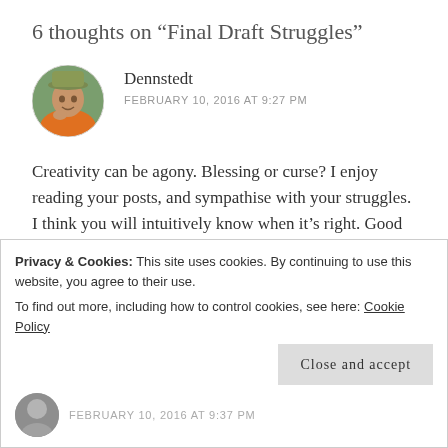6 thoughts on “Final Draft Struggles”
[Figure (photo): Circular avatar photo of a man wearing an orange shirt and a hat]
Dennstedt
FEBRUARY 10, 2016 AT 9:27 PM
Creativity can be agony. Blessing or curse? I enjoy reading your posts, and sympathise with your struggles. I think you will intuitively know when it’s right. Good luck. 🙂
Like
Privacy & Cookies: This site uses cookies. By continuing to use this website, you agree to their use.
To find out more, including how to control cookies, see here: Cookie Policy
Close and accept
FEBRUARY 10, 2016 AT 9:37 PM